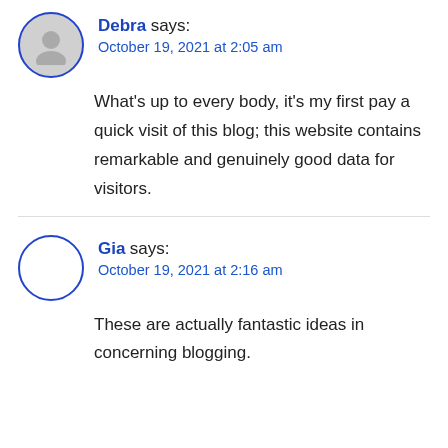Debra says: October 19, 2021 at 2:05 am
What's up to every body, it's my first pay a quick visit of this blog; this website contains remarkable and genuinely good data for visitors.
Gia says: October 19, 2021 at 2:16 am
These are actually fantastic ideas in concerning blogging.